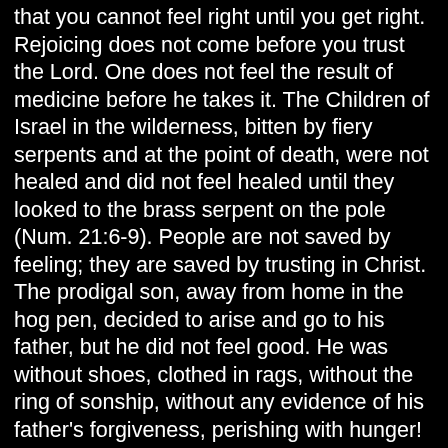that you cannot feel right until you get right. Rejoicing does not come before you trust the Lord. One does not feel the result of medicine before he takes it. The Children of Israel in the wilderness, bitten by fiery serpents and at the point of death, were not healed and did not feel healed until they looked to the brass serpent on the pole (Num. 21:6-9). People are not saved by feeling; they are saved by trusting in Christ. The prodigal son, away from home in the hog pen, decided to arise and go to his father, but he did not feel good. He was without shoes, clothed in rags, without the ring of sonship, without any evidence of his father's forgiveness, perishing with hunger! Yet he arose and came to his father, not by feeling, but by faith in his father. Thank God, his father received him, like God receives every sinner who will come. And when the prodigal boy sat down at his father's table, with shoes of the gospel of peace, clothed in the garments of righteousness of Christ, with the ring of sonship on his finger, eating the fatted calf at the right hand of the father, happy in his love, then he has plenty of feeling. Feeling comes after salvation. Leave the feeling with the Lord and